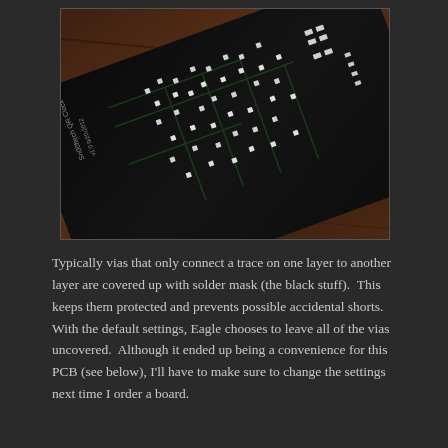[Figure (photo): Close-up photograph of a black PCB (printed circuit board) labeled 'Sn00ftech QR Clock v1.0 9/20/2012', showing exposed vias (small square/circular pads) and circuit traces on the dark solder mask surface, placed on a wooden surface.]
Typically vias that only connect a trace on one layer to another layer are covered up with solder mask (the black stuff).  This keeps them protected and prevents possible accidental shorts.  With the default settings, Eagle chooses to leave all of the vias uncovered.  Although it ended up being a convenience for this PCB (see below), I'll have to make sure to change the settings next time I order a board.